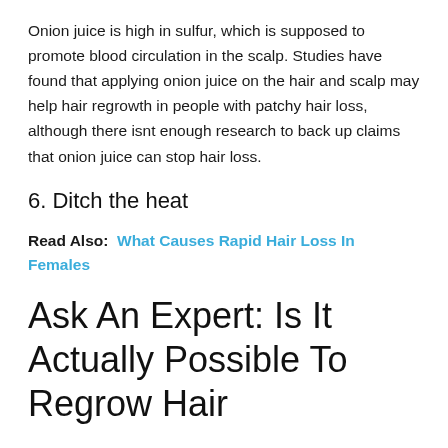Onion juice is high in sulfur, which is supposed to promote blood circulation in the scalp. Studies have found that applying onion juice on the hair and scalp may help hair regrowth in people with patchy hair loss, although there isnt enough research to back up claims that onion juice can stop hair loss.
6. Ditch the heat
Read Also: What Causes Rapid Hair Loss In Females
Ask An Expert: Is It Actually Possible To Regrow Hair
Every guy is at risk of losing his hair, some more quickly than others . It sucks. The follicle itself